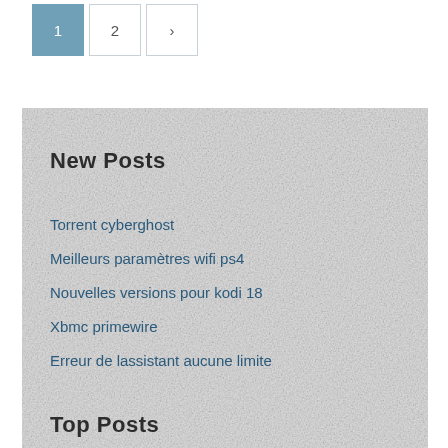1
2
>
New Posts
Torrent cyberghost
Meilleurs paramètres wifi ps4
Nouvelles versions pour kodi 18
Xbmc primewire
Erreur de lassistant aucune limite
Top Posts